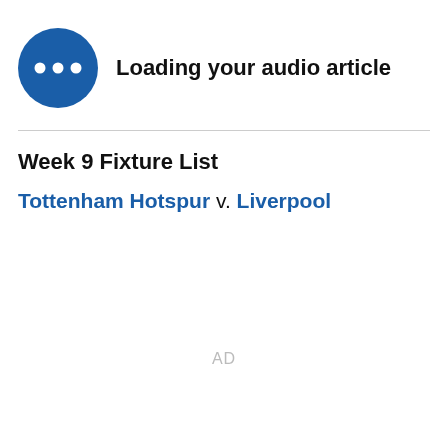[Figure (illustration): Blue circular icon with three white dots (loading/audio indicator)]
Loading your audio article
Week 9 Fixture List
Tottenham Hotspur v. Liverpool
AD